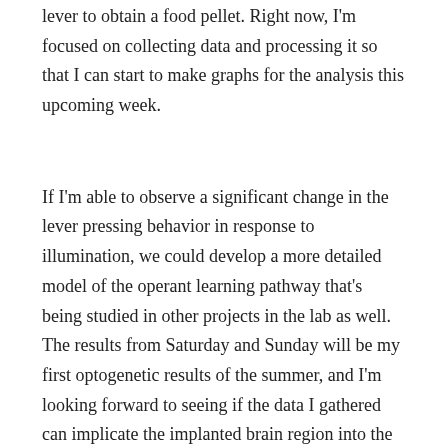lever to obtain a food pellet. Right now, I'm focused on collecting data and processing it so that I can start to make graphs for the analysis this upcoming week.
If I'm able to observe a significant change in the lever pressing behavior in response to illumination, we could develop a more detailed model of the operant learning pathway that's being studied in other projects in the lab as well. The results from Saturday and Sunday will be my first optogenetic results of the summer, and I'm looking forward to seeing if the data I gathered can implicate the implanted brain region into the operant learning pathway.
Posted in BSURF 2019, Week 2    1 Comment